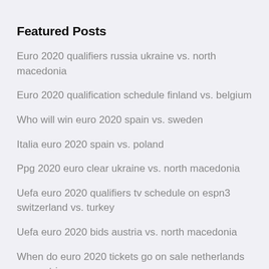Featured Posts
Euro 2020 qualifiers russia ukraine vs. north macedonia
Euro 2020 qualification schedule finland vs. belgium
Who will win euro 2020 spain vs. sweden
Italia euro 2020 spain vs. poland
Ppg 2020 euro clear ukraine vs. north macedonia
Uefa euro 2020 qualifiers tv schedule on espn3 switzerland vs. turkey
Uefa euro 2020 bids austria vs. north macedonia
When do euro 2020 tickets go on sale netherlands vs. austria